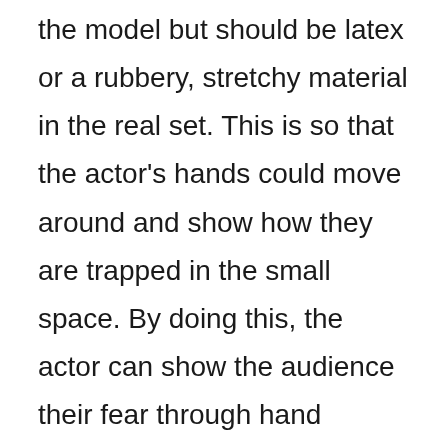the model but should be latex or a rubbery, stretchy material in the real set. This is so that the actor's hands could move around and show how they are trapped in the small space. By doing this, the actor can show the audience their fear through hand movements, rather than facial expressions as they are trapped in the box. This is demonstrated by the black handprints in the model. It is also surrounded by smaller boxes, which actors will not be   in. On the set, they will be lit the...